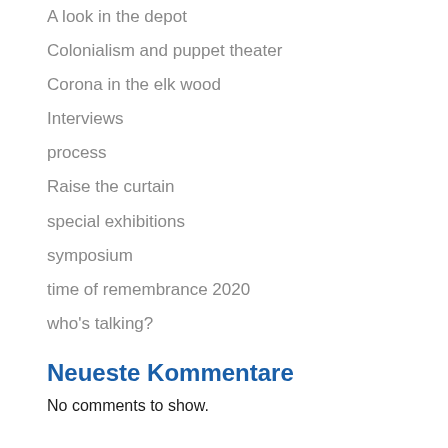A look in the depot
Colonialism and puppet theater
Corona in the elk wood
Interviews
process
Raise the curtain
special exhibitions
symposium
time of remembrance 2020
who's talking?
Neueste Kommentare
No comments to show.